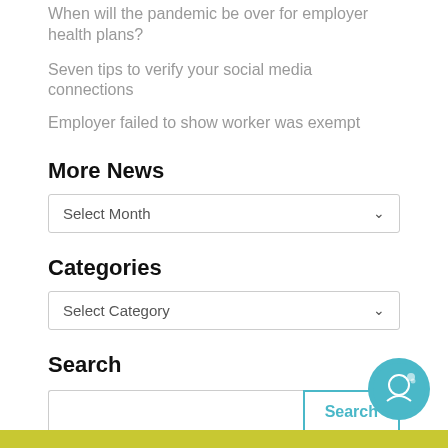When will the pandemic be over for employer health plans?
Seven tips to verify your social media connections
Employer failed to show worker was exempt
More News
Select Month
Categories
Select Category
Search
Search